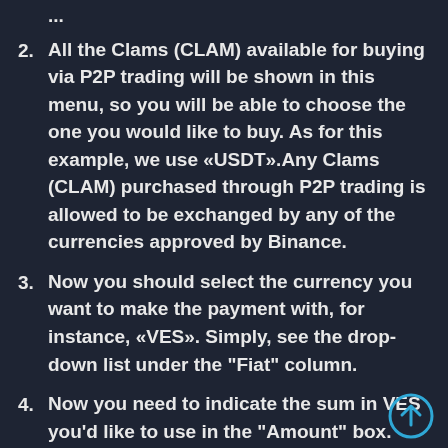All the Clams (CLAM) available for buying via P2P trading will be shown in this menu, so you will be able to choose the one you would like to buy. As for this example, we use «USDT».Any Clams (CLAM) purchased through P2P trading is allowed to be exchanged by any of the currencies approved by Binance.
Now you should select the currency you want to make the payment with, for instance, «VES». Simply, see the drop-down list under the "Fiat" column.
Now you need to indicate the sum in VES you'd like to use in the "Amount" box.